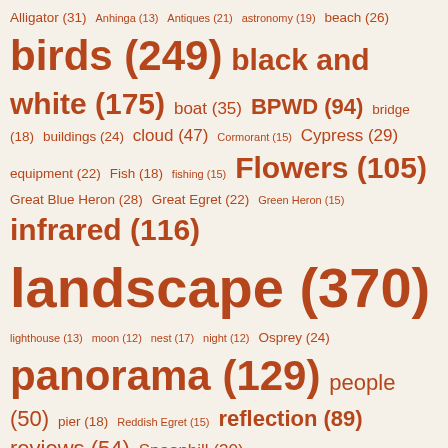[Figure (infographic): Tag cloud showing photography category tags with counts. Larger font size indicates higher count. Tags in brownish-red color on cream background. Tags include: Alligator (31), Anhinga (13), Antiques (21), astronomy (19), beach (26), birds (249), black and white (175), boat (35), BPWD (94), bridge (18), buildings (24), cloud (47), Cormorant (15), Cypress (29), equipment (22), Fish (18), fishing (15), Flowers (105), Great Blue Heron (28), Great Egret (22), Green Heron (15), infrared (116), landscape (370), lighthouse (13), moon (12), nest (17), night (12), Osprey (24), panorama (129), people (50), pier (18), Reddish Egret (15), reflection (89), reviews (54), Spoonbill (30), Sunflowers (15), sunrise (219), sunset (47), travel (76), tree (55), Tri-colored Heron (14), vacation (45), Whale (13), wildlife (186), Wood Stork (13)]